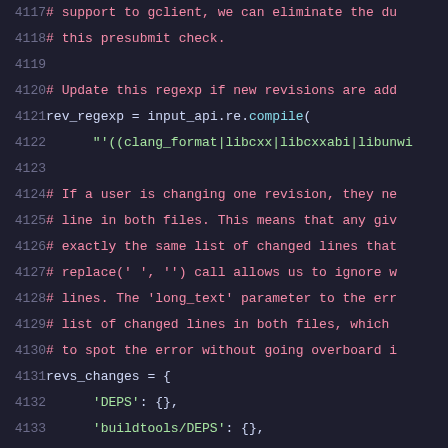[Figure (screenshot): Source code viewer showing Python code lines 4117-4137 with syntax highlighting on a dark background. Line numbers are shown in grey on the left. Comments are in red/dark red, string literals in green, and regular code in white/light color.]